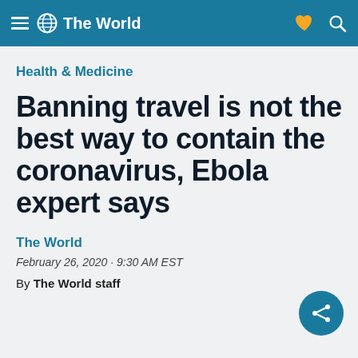The World
Health & Medicine
Banning travel is not the best way to contain the coronavirus, Ebola expert says
The World
February 26, 2020 · 9:30 AM EST
By The World staff